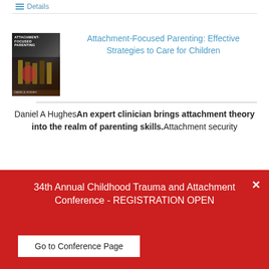Details
[Figure (illustration): Book cover of 'Attachment-Focused Parenting' by Daniel A. Hughes, dark background with image of hands]
Attachment-Focused Parenting: Effective Strategies to Care for Children
Daniel A Hughes An expert clinician brings attachment theory into the realm of parenting skills. Attachment security
34th Annual Childhood Trauma and Attachment Conference - REGISTRATION OPEN
Go to Conference Page